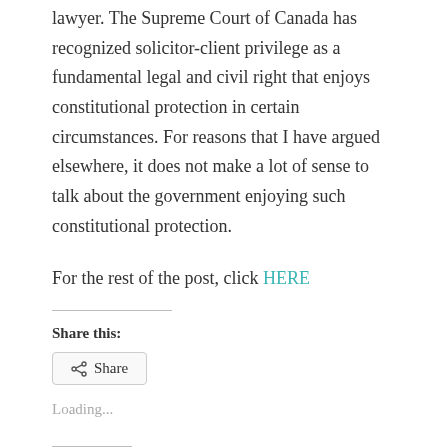lawyer. The Supreme Court of Canada has recognized solicitor-client privilege as a fundamental legal and civil right that enjoys constitutional protection in certain circumstances. For reasons that I have argued elsewhere, it does not make a lot of sense to talk about the government enjoying such constitutional protection.
For the rest of the post, click HERE
Share this:
Share
Loading...
Related